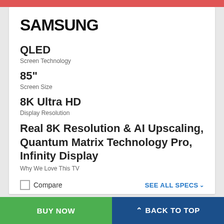SAMSUNG
QLED
Screen Technology
85"
Screen Size
8K Ultra HD
Display Resolution
Real 8K Resolution & AI Upscaling, Quantum Matrix Technology Pro, Infinity Display
Why We Love This TV
Compare
SEE ALL SPECS
BUY NOW
^ BACK TO TOP